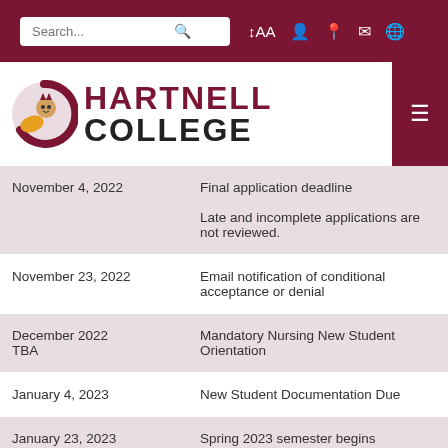Hartnell College
| Date | Description |
| --- | --- |
| November 4, 2022 | Final application deadline
Late and incomplete applications are not reviewed. |
| November 23, 2022 | Email notification of conditional acceptance or denial |
| December 2022
TBA | Mandatory Nursing New Student Orientation |
| January 4, 2023 | New Student Documentation Due |
| January 23, 2023 | Spring 2023 semester begins |